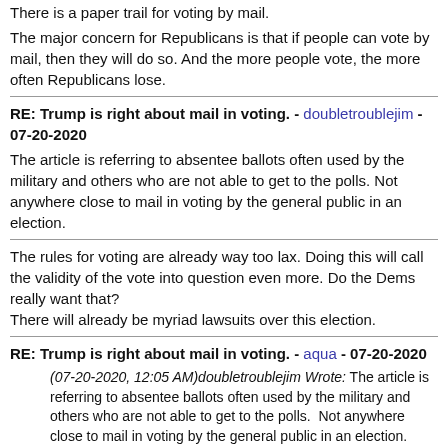There is a paper trail for voting by mail.
The major concern for Republicans is that if people can vote by mail, then they will do so.  And the more people vote, the more often Republicans lose.
RE: Trump is right about mail in voting. - doubletroublejim - 07-20-2020
The article is referring to absentee ballots often used by the military and others who are not able to get to the polls. Not anywhere close to mail in voting by the general public in an election.
The rules for voting are already way too lax. Doing this will call the validity of the vote into question even more. Do the Dems really want that?
There will already be myriad lawsuits over this election.
RE: Trump is right about mail in voting. - aqua - 07-20-2020
(07-20-2020, 12:05 AM)doubletroublejim Wrote: The article is referring to absentee ballots often used by the military and others who are not able to get to the polls.  Not anywhere close to mail in voting by the general public in an election.
The rules for voting are already way too lax.  Doing this will call the validity of the vote into question even more.